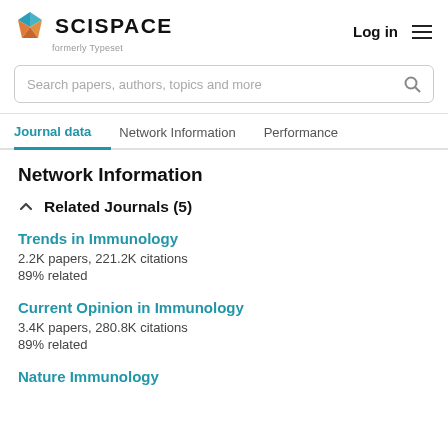[Figure (logo): SciSpace logo with colored diamond/cube icon and text 'SCISPACE formerly Typeset']
Log in
Search papers, authors, topics and more
Journal data  Network Information  Performance
Network Information
Related Journals (5)
Trends in Immunology
2.2K papers, 221.2K citations
89% related
Current Opinion in Immunology
3.4K papers, 280.8K citations
89% related
Nature Immunology